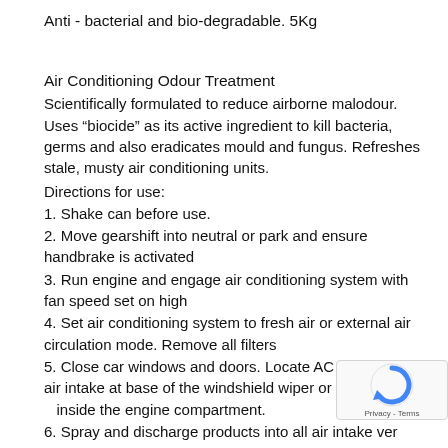Anti - bacterial and bio-degradable. 5Kg
Air Conditioning Odour Treatment
Scientifically formulated to reduce airborne malodour. Uses “biocide” as its active ingredient to kill bacteria, germs and also eradicates mould and fungus. Refreshes stale, musty air conditioning units.
Directions for use:
1. Shake can before use.
2. Move gearshift into neutral or park and ensure handbrake is activated
3. Run engine and engage air conditioning system with fan speed set on high
4. Set air conditioning system to fresh air or external air circulation mode. Remove all filters
5. Close car windows and doors. Locate AC system fresh air intake at base of the windshield wiper or at the firewall inside the engine compartment.
6. Spray and discharge products into all air intake ven...
7.  Switch air conditioning system to heating (if applicable)